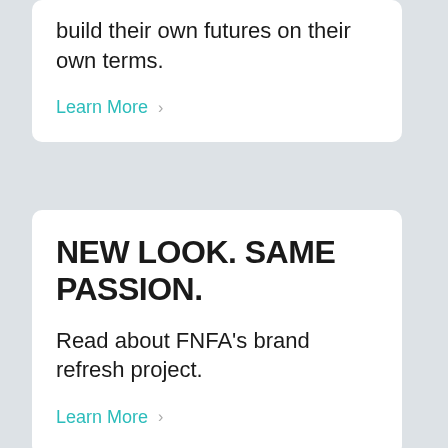build their own futures on their own terms.
Learn More
NEW LOOK. SAME PASSION.
Read about FNFA's brand refresh project.
Learn More